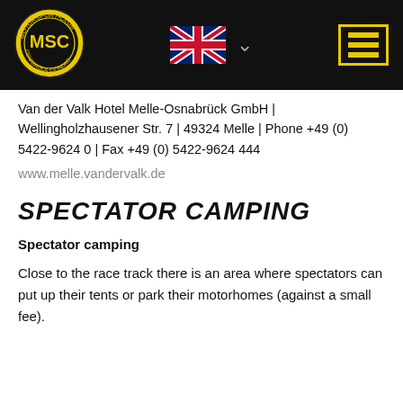[Figure (logo): MSC Osnabrück ADAC motorsport club circular logo in gold and black]
[Figure (illustration): UK flag (Union Jack) with dropdown chevron]
[Figure (illustration): Hamburger menu icon with yellow/gold lines on dark background with yellow border]
Van der Valk Hotel Melle-Osnabrück GmbH | Wellingholzhausener Str. 7 | 49324 Melle | Phone +49 (0) 5422-9624 0 | Fax +49 (0) 5422-9624 444
www.melle.vandervalk.de
SPECTATOR CAMPING
Spectator camping
Close to the race track there is an area where spectators can put up their tents or park their motorhomes (against a small fee).